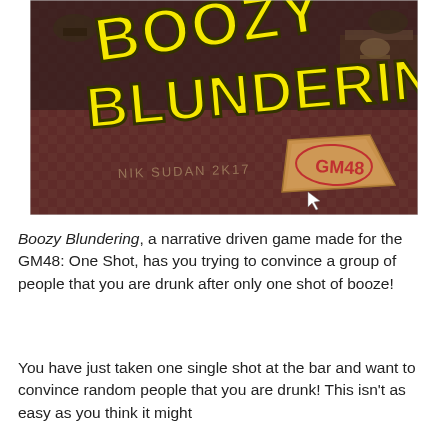[Figure (screenshot): Game title screen for 'Boozy Blundering' — bold yellow cartoon text on a dark brown bar scene background. Text 'NIK SUDAN 2K17' written in graffiti style at bottom left, and a cardboard sign reading 'GM48' at bottom right. A white cursor arrow is visible near the center-right bottom.]
Boozy Blundering, a narrative driven game made for the GM48: One Shot, has you trying to convince a group of people that you are drunk after only one shot of booze!
You have just taken one single shot at the bar and want to convince random people that you are drunk! This isn't as easy as you think it might